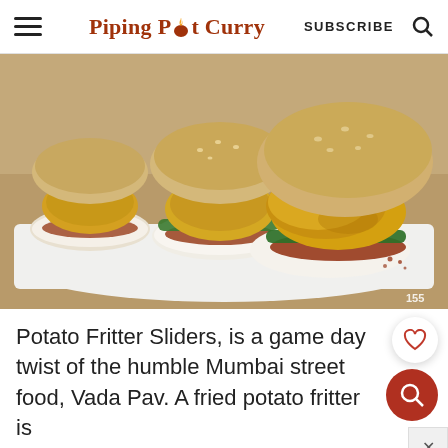Piping Pot Curry   SUBSCRIBE
[Figure (photo): Three Vada Pav / Potato Fritter Sliders on a white rectangular plate, showing golden fried potato fritters (vada) with green chutney and red spice powder on white dinner rolls (pav), arranged in a row on a beige textured surface.]
Potato Fritter Sliders, is a game day twist of the humble Mumbai street food, Vada Pav. A fried potato fritter is stuffed in between dinner rolls, along